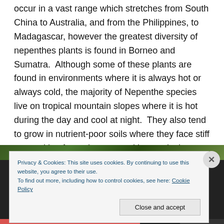occur in a vast range which stretches from South China to Australia, and from the Philippines, to Madagascar, however the greatest diversity of nepenthes plants is found in Borneo and Sumatra.  Although some of these plants are found in environments where it is always hot or always cold, the majority of Nepenthe species live on tropical mountain slopes where it is hot during the day and cool at night.  They also tend to grow in nutrient-poor soils where they face stiff competition from ultra-competitive tropical trees, vines, and flowers.
[Figure (photo): Partial view of a plant photograph with a dark green background, partially obscured by a cookie consent overlay.]
Privacy & Cookies: This site uses cookies. By continuing to use this website, you agree to their use.
To find out more, including how to control cookies, see here: Cookie Policy
Close and accept